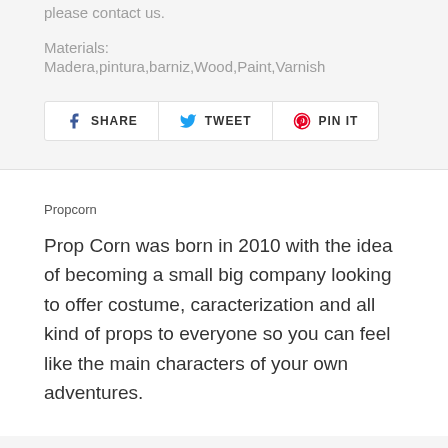please contact us.
Materials:
Madera,pintura,barniz,Wood,Paint,Varnish
[Figure (other): Social share buttons: SHARE (Facebook), TWEET (Twitter), PIN IT (Pinterest)]
Propcorn
Prop Corn was born in 2010 with the idea of becoming a small big company looking to offer costume, caracterization and all kind of props to everyone so you can feel like the main characters of your own adventures.